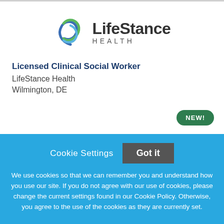[Figure (logo): LifeStance Health logo with swirl icon and text]
Licensed Clinical Social Worker
LifeStance Health
Wilmington, DE
NEW!
Cookie Settings
Got it
We use cookies so that we can remember you and understand how you use our site. If you do not agree with our use of cookies, please change the current settings found in our Cookie Policy. Otherwise, you agree to the use of the cookies as they are currently set.